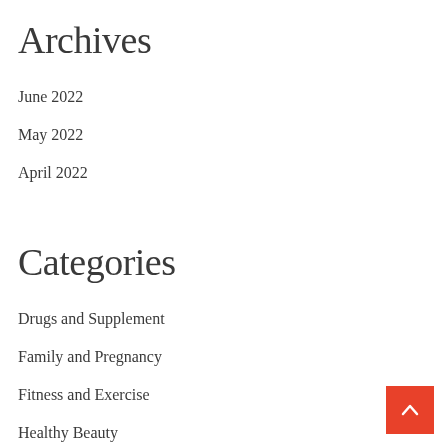Archives
June 2022
May 2022
April 2022
Categories
Drugs and Supplement
Family and Pregnancy
Fitness and Exercise
Healthy Beauty